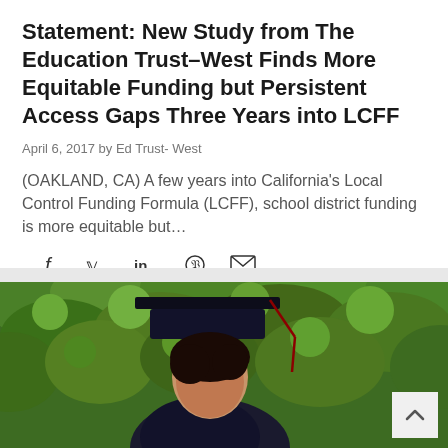Statement: New Study from The Education Trust–West Finds More Equitable Funding but Persistent Access Gaps Three Years into LCFF
April 6, 2017 by Ed Trust- West
(OAKLAND, CA) A few years into California's Local Control Funding Formula (LCFF), school district funding is more equitable but…
[Figure (infographic): Social sharing icons: Facebook (f), Twitter (bird/y), LinkedIn (in), Pinterest (p), Email (envelope)]
[Figure (photo): A graduating student wearing a black mortarboard cap and gown, photographed against a background of green leafy foliage]